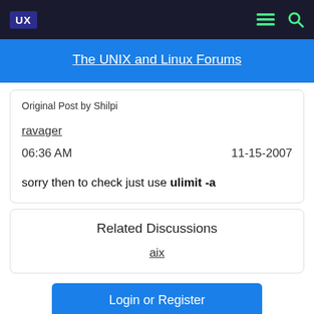UX  [menu icon] [search icon]
The UNIX and Linux Forums
Original Post by Shilpi
ravager
06:36 AM  11-15-2007
sorry then to check just use ulimit -a
Related Discussions
aix
Login or Register